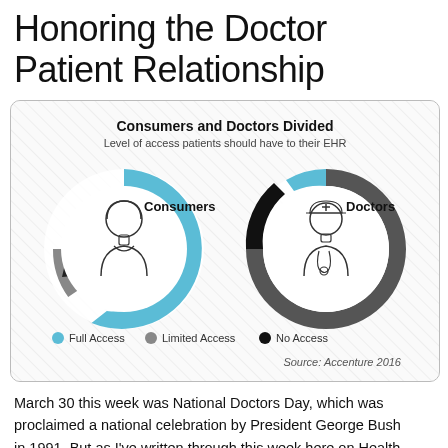Honoring the Doctor Patient Relationship
[Figure (infographic): Donut chart infographic titled 'Consumers and Doctors Divided — Level of access patients should have to their EHR'. Two circular donut charts: Left shows Consumers with a large blue arc (Full Access), small dark grey arc (Limited Access), and tiny black arc (No Access), with a female consumer icon in center. Right shows Doctors with large dark grey arc (Limited Access), small black arc (No Access), and small blue arc (Full Access), with a doctor icon in center. Legend: blue = Full Access, grey = Limited Access, black = No Access. Source: Accenture 2016.]
March 30 this week was National Doctors Day, which was proclaimed a national celebration by President George Bush in 1991. But as I've written through this week here on Health